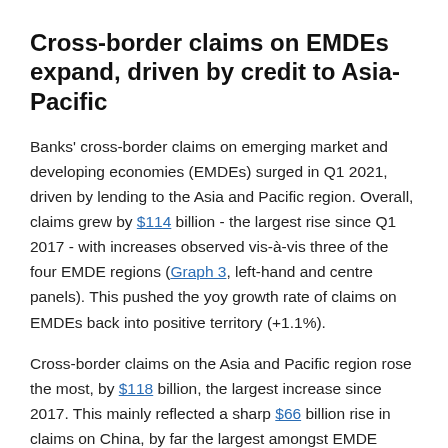Cross-border claims on EMDEs expand, driven by credit to Asia-Pacific
Banks' cross-border claims on emerging market and developing economies (EMDEs) surged in Q1 2021, driven by lending to the Asia and Pacific region. Overall, claims grew by $114 billion - the largest rise since Q1 2017 - with increases observed vis-à-vis three of the four EMDE regions (Graph 3, left-hand and centre panels). This pushed the yoy growth rate of claims on EMDEs back into positive territory (+1.1%).
Cross-border claims on the Asia and Pacific region rose the most, by $118 billion, the largest increase since 2017. This mainly reflected a sharp $66 billion rise in claims on China, by far the largest amongst EMDE borrowers (Graph 3, right-hand panel).